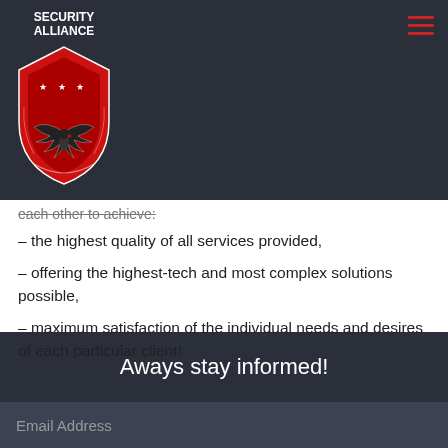SECURITY ALLIANCE
each other to achieve:
– the highest quality of all services provided,
– offering the highest-tech and most complex solutions possible,
– maximum satisfaction of the individual needs and desires of each particular client!
Aways stay informed!
Email Address